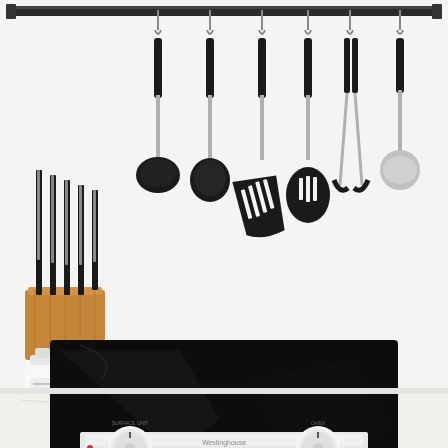[Figure (photo): A kitchen scene showing a white wall with a metal hanging rail from which seven black-handled kitchen utensils are suspended (ladle, spoon, slotted spoon, two spatulas, tongs, and a ladle/scoop). On the left side of the counter is a wooden knife block holding black-handled knives and a small white ceramic bottle. Below the utensils is a large black glass ceramic electric cooktop/hob. Beneath the cooktop is a white oven/range with two white control knobs and a brand logo in the center.]